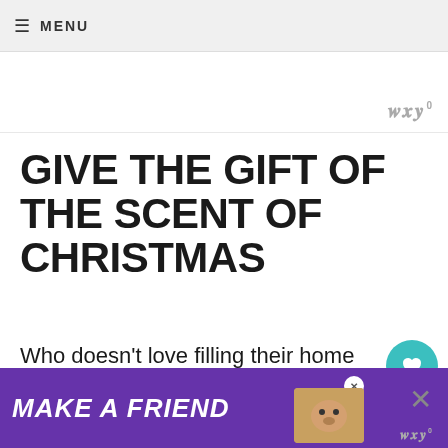☰ MENU
[Figure (logo): Website wordmark / logo in top-right of header area, gray text with superscript 0]
GIVE THE GIFT OF THE SCENT OF CHRISTMAS
Who doesn't love filling their home with the essence of everything we love about the winter season? We all love to make sure our home has that perfect festive feel the moment someone walks in, which is why the
[Figure (infographic): Floating action panel with teal heart button showing 1.1K likes and a share button]
[Figure (infographic): What's Next card with arrow, thumbnail image, label 'WHAT'S NEXT', and title 'Homemade Christmas']
[Figure (infographic): Purple advertisement banner reading 'MAKE A FRIEND' with dog image, close button, and X button]